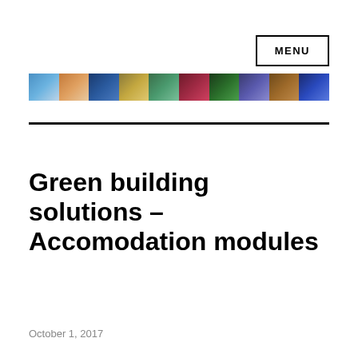MENU
[Figure (photo): A horizontal panoramic strip of city landmark photographs including various world monuments and cityscapes.]
Green building solutions – Accomodation modules
October 1, 2017